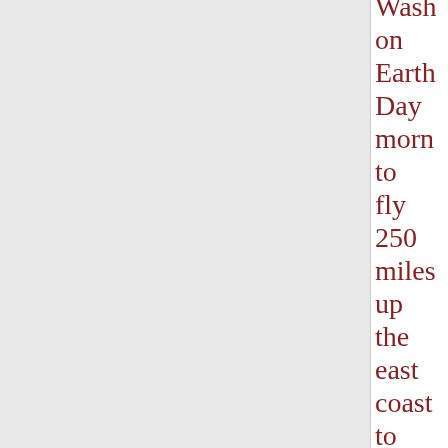Washington Earth Day morning to fly 250 miles up the east coast to New York where they will land at separate airports to